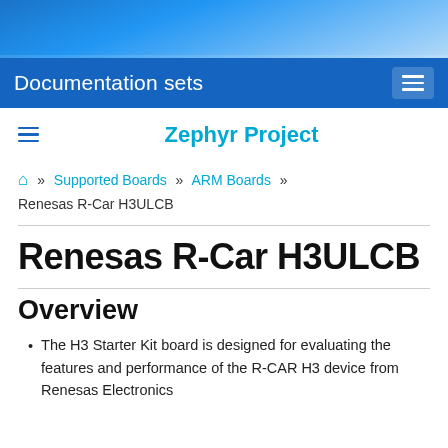[Figure (other): Blue gradient banner header image at top of page]
Documentation sets
Zephyr Project
🏠 » Supported Boards » ARM Boards » Renesas R-Car H3ULCB
Renesas R-Car H3ULCB
Overview
The H3 Starter Kit board is designed for evaluating the features and performance of the R-CAR H3 device from Renesas Electronics